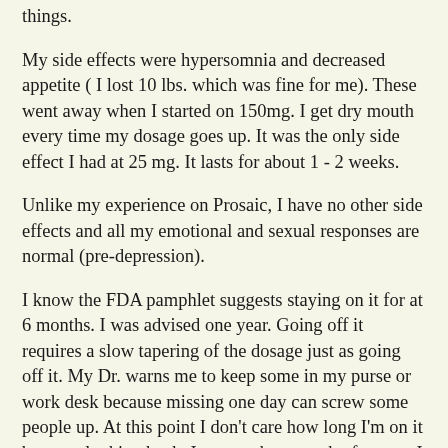things.
My side effects were hypersomnia and decreased appetite ( I lost 10 lbs. which was fine for me). These went away when I started on 150mg. I get dry mouth every time my dosage goes up. It was the only side effect I had at 25 mg. It lasts for about 1 - 2 weeks.
Unlike my experience on Prosaic, I have no other side effects and all my emotional and sexual responses are normal (pre-depression).
I know the FDA pamphlet suggests staying on it for at 6 months. I was advised one year. Going off it requires a slow tapering of the dosage just as going off it. My Dr. warns me to keep some in my purse or work desk because missing one day can screw some people up. At this point I don't care how long I'm on it because looking back, I can see how much of a mess I was.
Thank you all for posting messages. I wish I found this site sooner. I hope everyone here is able to get better! If your psychiatrist isn't helping (like my first one) please go to another one. I was completely depressed and hopeless after my first bad experience.